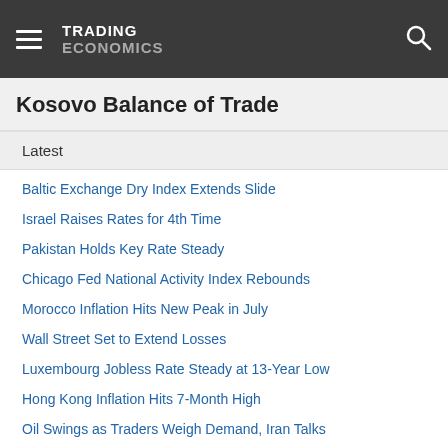TRADING ECONOMICS
Kosovo Balance of Trade
Latest
Baltic Exchange Dry Index Extends Slide
Israel Raises Rates for 4th Time
Pakistan Holds Key Rate Steady
Chicago Fed National Activity Index Rebounds
Morocco Inflation Hits New Peak in July
Wall Street Set to Extend Losses
Luxembourg Jobless Rate Steady at 13-Year Low
Hong Kong Inflation Hits 7-Month High
Oil Swings as Traders Weigh Demand, Iran Talks
US Natural Gas Hits 14-Year High